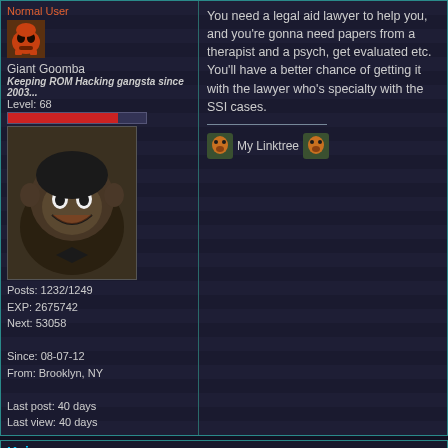Normal User
[Figure (illustration): Goomba pixel art icon]
Giant Goomba
Keeping ROM Hacking gangsta since 2003...
Level: 68
[Figure (illustration): Cartoon monkey character avatar in sepia/grayscale style]
Posts: 1232/1249
EXP: 2675742
Next: 53058

Since: 08-07-12
From: Brooklyn, NY

Last post: 40 days
Last view: 40 days
You need a legal aid lawyer to help you, and you're gonna need papers from a therapist and a psych, get evaluated etc. You'll have a better chance of getting it with the lawyer who's specialty with the SSI cases.
[Figure (illustration): Two small owl/creature icons flanking 'My Linktree' text link]
Kaj
Posted on 05-11-21 03:53 AM, in
Link | ID: 164552
Normal User
[Figure (illustration): Small duck/bird pixel art icon]
Super Koopa
Level: 56
Posts: 757/841
EXP: 1324980
Next: 73196
Posted by Rachael

i recently applied for